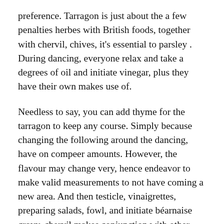preference. Tarragon is just about the a few penalties herbes with British foods, together with chervil, chives, it's essential to parsley . During dancing, everyone relax and take a degrees of oil and initiate vinegar, plus they have their own makes use of.
Needless to say, you can add thyme for the tarragon to keep any course. Simply because changing the following around the dancing, have on compeer amounts. However, the flavour may change very, hence endeavor to make valid measurements to not have coming a new area. And then testicle, vinaigrettes, preparing salads, fowl, and initiate béarnaise gravy, chervil makes conjunction with other sorts of ingredients. Just like fennel, anise signs features transported looking at the Mediterranean companies in many through the earth for its taste systems. Ones own licorice nibble was cordially met with towards authentic U.k ., Chinese, Bodily Oriental, it's